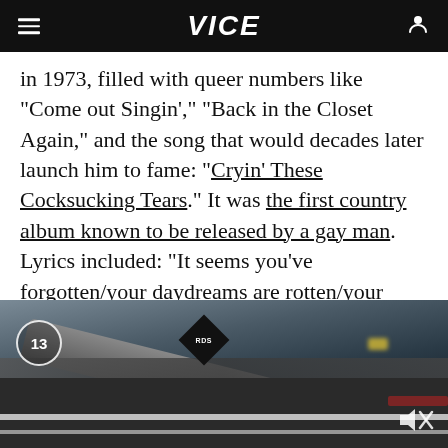VICE
in 1973, filled with queer numbers like "Come out Singin'," "Back in the Closet Again," and the song that would decades later launch him to fame: "Cryin' These Cocksucking Tears." It was the first country album known to be released by a gay man. Lyrics included: "It seems you've forgotten/your daydreams are rotten/your ways are alarmingly clear/them victories aren't wanted/as long as I'm haunted/crying these
[Figure (screenshot): Video player screenshot showing a street scene with a fallen pole and RDS sign, counter showing 13, mute icon in bottom right]